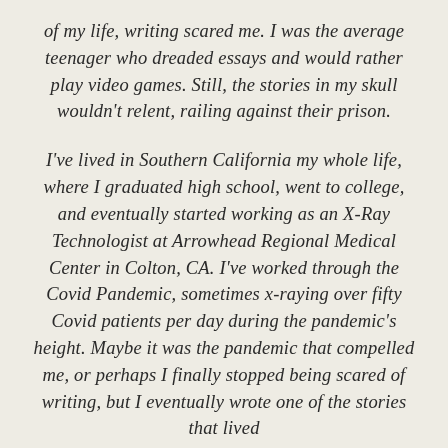of my life, writing scared me. I was the average teenager who dreaded essays and would rather play video games. Still, the stories in my skull wouldn't relent, railing against their prison.
I've lived in Southern California my whole life, where I graduated high school, went to college, and eventually started working as an X-Ray Technologist at Arrowhead Regional Medical Center in Colton, CA. I've worked through the Covid Pandemic, sometimes x-raying over fifty Covid patients per day during the pandemic's height. Maybe it was the pandemic that compelled me, or perhaps I finally stopped being scared of writing, but I eventually wrote one of the stories that lived